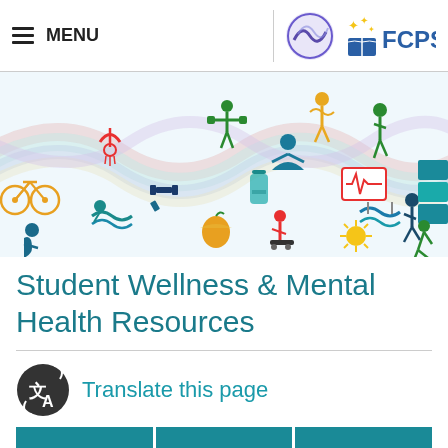≡ MENU | FCPS Logo
[Figure (illustration): Colorful wellness and fitness icons (bicycle, swimmer, weightlifter, yoga, jump rope, walking person, heart monitor, pool, treadmill, apple, sun, skateboarder, etc.) arranged on a flowing wave background in teal, blue, red, orange, green, yellow colors.]
Student Wellness & Mental Health Resources
Translate this page
[Three teal buttons at bottom — partially visible]